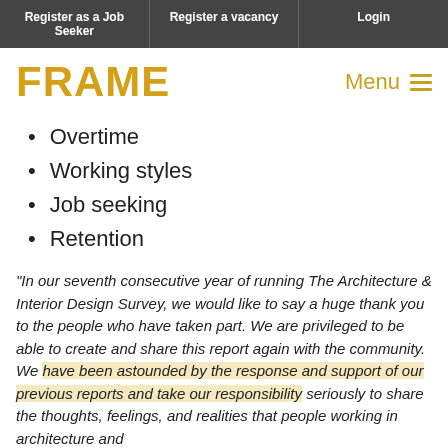Register as a Job Seeker | Register a vacancy | Login
FRAME
Overtime
Working styles
Job seeking
Retention
"In our seventh consecutive year of running The Architecture & Interior Design Survey, we would like to say a huge thank you to the people who have taken part. We are privileged to be able to create and share this report again with the community. We have been astounded by the response and support of our previous reports and take our responsibility seriously to share the thoughts, feelings, and realities that people working in architecture and